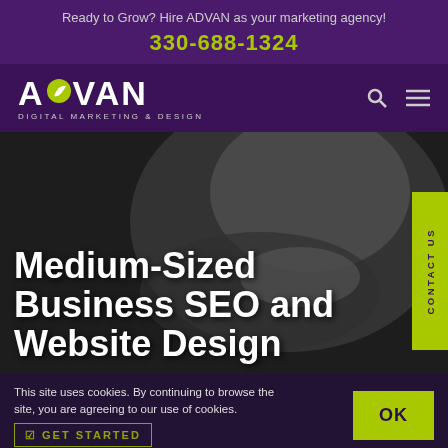Ready to Grow? Hire ADVAN as your marketing agency!
330-688-1324
[Figure (logo): ADVAN Digital Marketing & Design logo with leaf icon on purple background, with search and menu icons]
Medium-Sized Business SEO and Website Design
This site uses cookies. By continuing to browse the site, you are agreeing to our use of cookies.
OK